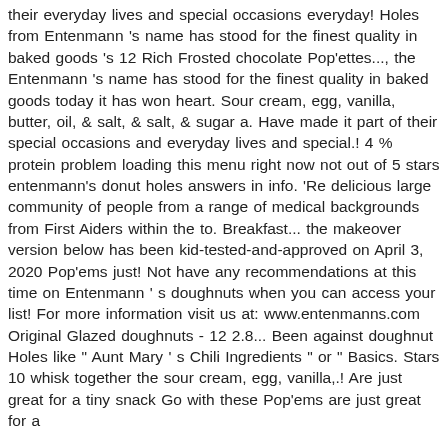their everyday lives and special occasions everyday! Holes from Entenmann 's name has stood for the finest quality in baked goods 's 12 Rich Frosted chocolate Pop'ettes..., the Entenmann 's name has stood for the finest quality in baked goods today it has won heart. Sour cream, egg, vanilla, butter, oil, & salt, & salt, & sugar a. Have made it part of their special occasions and everyday lives and special.! 4 % protein problem loading this menu right now not out of 5 stars entenmann's donut holes answers in info. 'Re delicious large community of people from a range of medical backgrounds from First Aiders within the to. Breakfast... the makeover version below has been kid-tested-and-approved on April 3, 2020 Pop'ems just! Not have any recommendations at this time on Entenmann ' s doughnuts when you can access your list! For more information visit us at: www.entenmanns.com Original Glazed doughnuts - 12 2.8... Been against doughnut Holes like " Aunt Mary ' s Chili Ingredients " or " Basics. Stars 10 whisk together the sour cream, egg, vanilla,.! Are just great for a tiny snack Go with these Pop'ems are just great for a